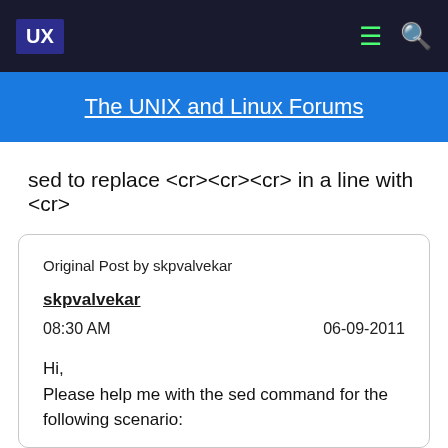UX
The UNIX and Linux Forums
sed to replace <cr><cr><cr> in a line with <cr>
Original Post by skpvalvekar
skpvalvekar
08:30 AM    06-09-2011
Hi,
Please help me with the sed command for the following scenario: